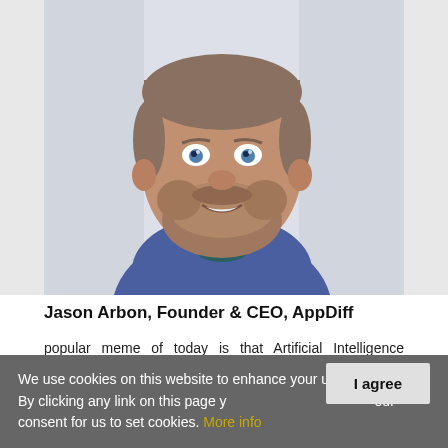[Figure (photo): Headshot of Jason Arbon, a heavyset man with short hair, blue eyes, and a beard, wearing a blue polo shirt, smiling, photographed outdoors in front of a blurred background.]
Jason Arbon, Founder & CEO, AppDiff
popular meme of today is that Artificial Intelligence (AI) will soon automate you out of a job, and even
We use cookies on this website to enhance your user experience. By clicking any link on this page you give your consent for us to set cookies. More info